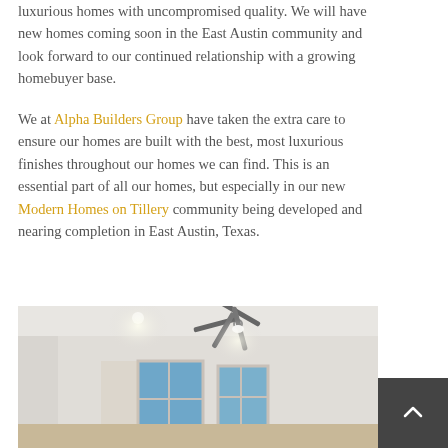luxurious homes with uncompromised quality. We will have new homes coming soon in the East Austin community and look forward to our continued relationship with a growing homebuyer base.
We at Alpha Builders Group have taken the extra care to ensure our homes are built with the best, most luxurious finishes throughout our homes we can find. This is an essential part of all our homes, but especially in our new Modern Homes on Tillery community being developed and nearing completion in East Austin, Texas.
[Figure (photo): Interior room photo showing a ceiling fan with light fixture mounted on a white ceiling, with blue-lit windows visible in the background, modern home interior.]